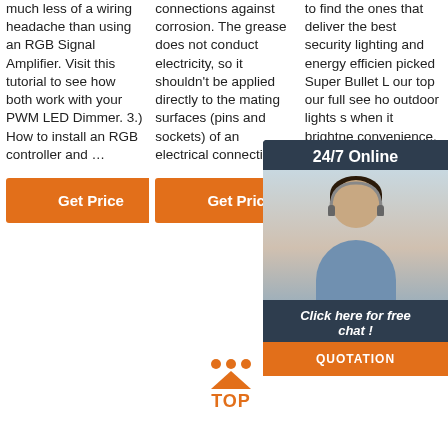much less of a wiring headache than using an RGB Signal Amplifier. Visit this tutorial to see how both work with your PWM LED Dimmer. 3.) How to install an RGB controller and …
connections against corrosion. The grease does not conduct electricity, so it shouldn't be applied directly to the mating surfaces (pins and sockets) of an electrical connection.
to find the ones that deliver the best security lighting and energy efficiency, picked Super Bullet L our top our full see how outdoor lights s when it brightness, convenience, cost, and installation.
[Figure (other): Customer service chat widget overlay with woman wearing headset, showing '24/7 Online', 'Click here for free chat!', and 'QUOTATION' button]
[Figure (other): TOP scroll-to-top icon with orange triangle and dots above 'TOP' text in orange]
Get Price
Get Price
Get Price